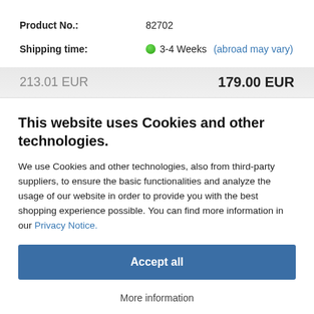Product No.: 82702
Shipping time: 3-4 Weeks (abroad may vary)
213.01 EUR   179.00 EUR
This website uses Cookies and other technologies.
We use Cookies and other technologies, also from third-party suppliers, to ensure the basic functionalities and analyze the usage of our website in order to provide you with the best shopping experience possible. You can find more information in our Privacy Notice.
Accept all
More information